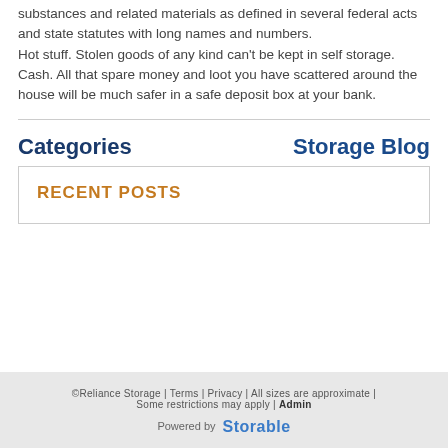substances and related materials as defined in several federal acts and state statutes with long names and numbers.
Hot stuff. Stolen goods of any kind can't be kept in self storage.
Cash. All that spare money and loot you have scattered around the house will be much safer in a safe deposit box at your bank.
Categories
Storage Blog
RECENT POSTS
©Reliance Storage | Terms | Privacy | All sizes are approximate | Some restrictions may apply | Admin
Powered by Storable